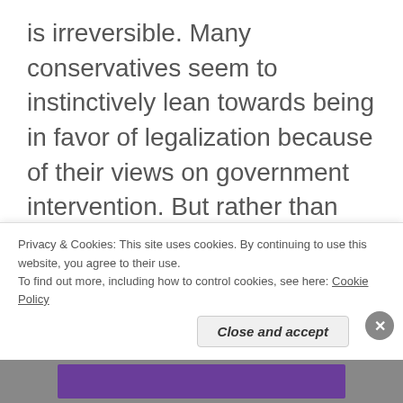is irreversible. Many conservatives seem to instinctively lean towards being in favor of legalization because of their views on government intervention. But rather than focusing on the governmental side of the matter, it is much more effective to focus on society. “If men were angels, no government would be necessary,” so let us all focus on being angels. Once we reach
Privacy & Cookies: This site uses cookies. By continuing to use this website, you agree to their use. To find out more, including how to control cookies, see here: Cookie Policy
Close and accept